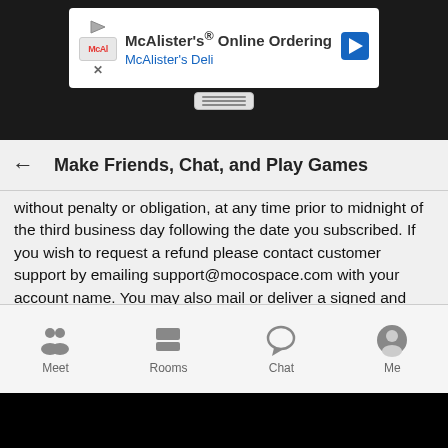[Figure (screenshot): McAlister's Online Ordering app advertisement banner with logo, title, subtitle, and navigation arrow]
Make Friends, Chat, and Play Games
without penalty or obligation, at any time prior to midnight of the third business day following the date you subscribed. If you wish to request a refund please contact customer support by emailing support@mocospace.com with your account name. You may also mail or deliver a signed and dated notice which states that you, the buyer, are canceling this agreement, or words of similar effect. Please also include the email address or telephone number associated with your account along with your account name. This notice shall be sent to: JNJ Mobile Inc., 6 Liberty Sq PMB 96493, Boston MA 02109, USA.
[Figure (screenshot): Bottom navigation bar with Meet, Rooms, Chat, and Me icons]